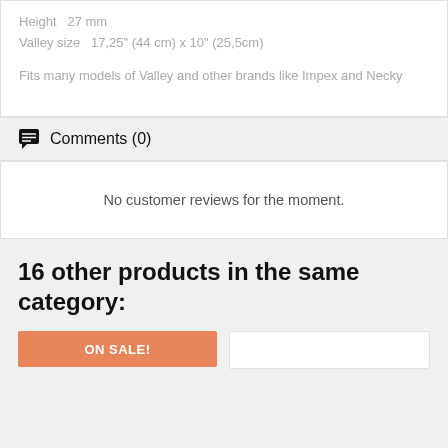Height   27 mm
Valley size   17,25" (44 cm) x 10" (25,5cm)

Fits many models of Valley and other brands like Impex and Necky
Comments (0)
No customer reviews for the moment.
16 other products in the same category:
[Figure (other): Orange ON SALE! product card and white product card placeholder]